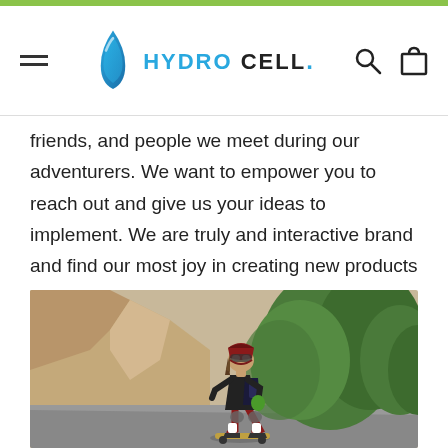HYDRO CELL. (navigation header with logo, hamburger menu, search and cart icons)
friends, and people we meet during our adventurers. We want to empower you to reach out and give us your ideas to implement. We are truly and interactive brand and find our most joy in creating new products for you.
[Figure (photo): A skateboarder wearing a red helmet, black t-shirt, red shorts, knee pads, and gloves, skating on a road with rocky hillside and green trees in the background.]